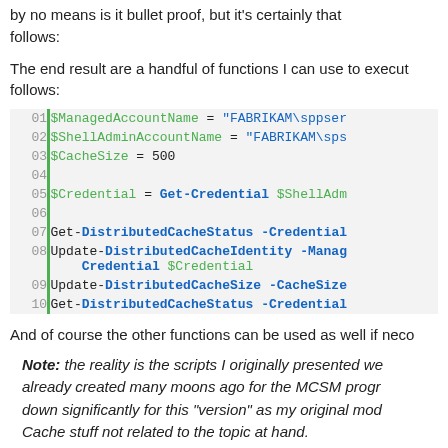By no means is it bullet proof, but it's certainly that follows:
The end result are a handful of functions I can use to execute as follows:
01 $ManagedAccountName = "FABRIKAM\sppser"
02 $ShellAdminAccountName = "FABRIKAM\sps"
03 $CacheSize = 500
04
05 $Credential = Get-Credential $ShellAdm
06
07 Get-DistributedCacheStatus -Credential
08 Update-DistributedCacheIdentity -Manag Credential $Credential
09 Update-DistributedCacheSize -CacheSize
10 Get-DistributedCacheStatus -Credential
And of course the other functions can be used as well if nece
Note: the reality is the scripts I originally presented were already created many moons ago for the MCSM progr down significantly for this "version" as my original mod Cache stuff not related to the topic at hand.